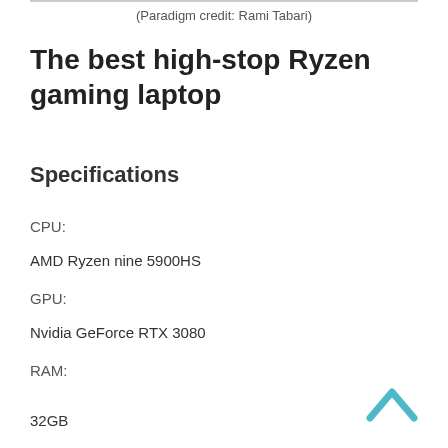(Paradigm credit: Rami Tabari)
The best high-stop Ryzen gaming laptop
Specifications
CPU:
AMD Ryzen nine 5900HS
GPU:
Nvidia GeForce RTX 3080
RAM:
32GB